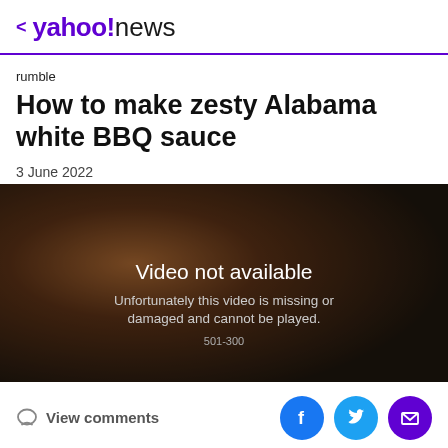< yahoo!news
rumble
How to make zesty Alabama white BBQ sauce
3 June 2022
[Figure (screenshot): Video player showing 'Video not available' error. Background shows a dark food-related image. Text reads: 'Video not available. Unfortunately this video is missing or damaged and cannot be played. 501-300']
View comments